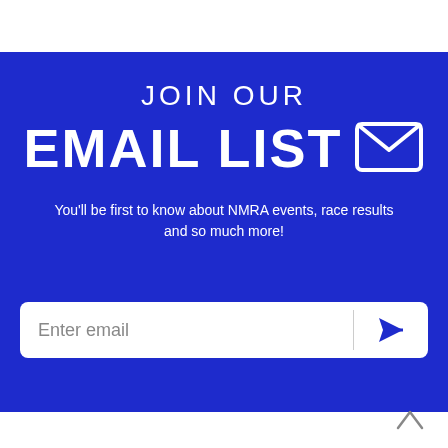JOIN OUR EMAIL LIST
You'll be first to know about NMRA events, race results and so much more!
[Figure (infographic): Email subscription form with 'Enter email' input field and send/arrow button on a blue background]